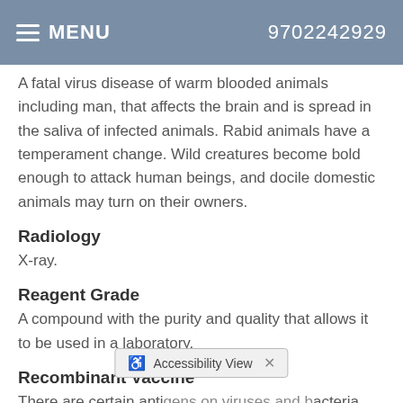MENU  9702242929
A fatal virus disease of warm blooded animals including man, that affects the brain and is spread in the saliva of infected animals. Rabid animals have a temperament change. Wild creatures become bold enough to attack human beings, and docile domestic animals may turn on their owners.
Radiology
X-ray.
Reagent Grade
A compound with the purity and quality that allows it to be used in a laboratory.
Recombinant Vaccine
There are certain antigens on viruses and bacteria